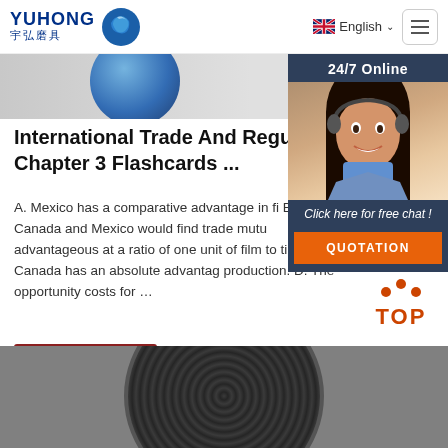YUHONG 宇弘磨具 | English
[Figure (photo): Circular abrasive disc product image on grey background]
International Trade And Regulations Chapter 3 Flashcards ...
A. Mexico has a comparative advantage in fi B. Canada and Mexico would find trade mutually advantageous at a ratio of one unit of film to timber. C. Canada has an absolute advantage production. D. The opportunity costs for …
[Figure (photo): Customer service agent (woman with headset) in side panel with 24/7 Online label, Click here for free chat!, and QUOTATION button]
[Figure (other): TOP button with orange dots and text]
[Figure (photo): Dark textured circular abrasive disc product at bottom of page]